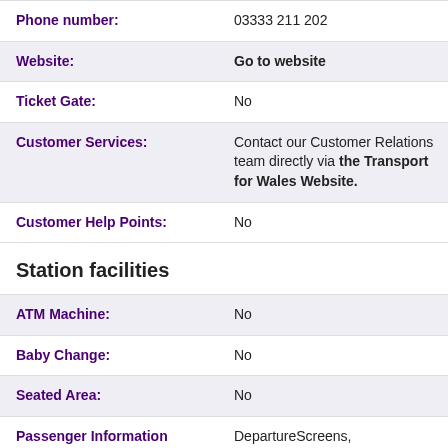| Field | Value |
| --- | --- |
| Phone number: | 03333 211 202 |
| Website: | Go to website |
| Ticket Gate: | No |
| Customer Services: | Contact our Customer Relations team directly via the Transport for Wales Website. |
| Customer Help Points: | No |
Station facilities
| Field | Value |
| --- | --- |
| ATM Machine: | No |
| Baby Change: | No |
| Seated Area: | No |
| Passenger Information Systems: | DepartureScreens, ArrivalScreens |